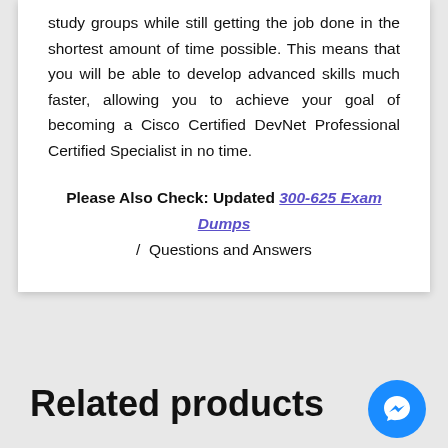study groups while still getting the job done in the shortest amount of time possible. This means that you will be able to develop advanced skills much faster, allowing you to achieve your goal of becoming a Cisco Certified DevNet Professional Certified Specialist in no time.
Please Also Check: Updated 300-625 Exam Dumps / Questions and Answers
Related products